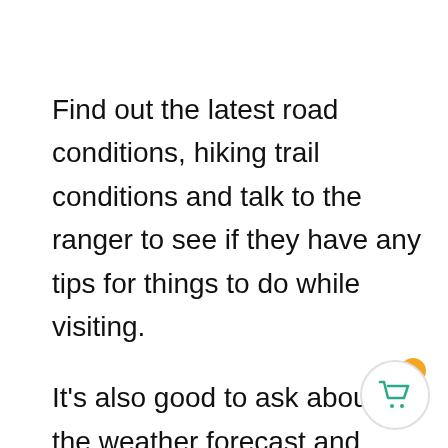Find out the latest road conditions, hiking trail conditions and talk to the ranger to see if they have any tips for things to do while visiting.

It's also good to ask about the weather forecast and what ranger-led programs are happening during your stay.